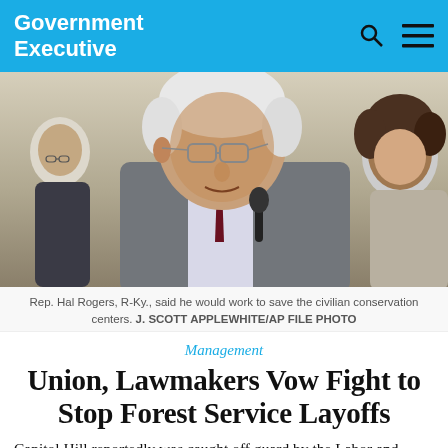Government Executive
[Figure (photo): Rep. Hal Rogers, an older white-haired man in a suit, speaking at a congressional hearing with a microphone in front of him and other people seated behind him.]
Rep. Hal Rogers, R-Ky., said he would work to save the civilian conservation centers. J. SCOTT APPLEWHITE/AP FILE PHOTO
Management
Union, Lawmakers Vow Fight to Stop Forest Service Layoffs
Capitol Hill reportedly was caught off guard by the Labor and Agriculture department announcement that officials planned to shutter Job Corps Civilian Conservation centers.